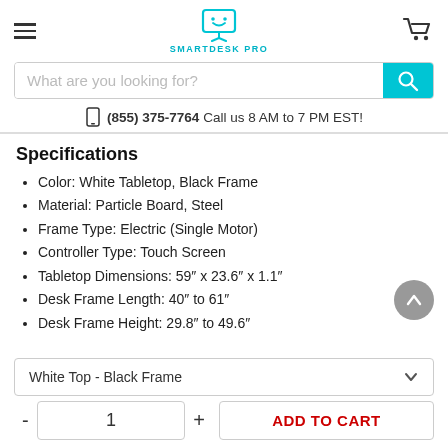SMARTDESK PRO
(855) 375-7764  Call us 8 AM to 7 PM EST!
Specifications
Color: White Tabletop, Black Frame
Material: Particle Board, Steel
Frame Type: Electric (Single Motor)
Controller Type: Touch Screen
Tabletop Dimensions: 59" x 23.6" x 1.1"
Desk Frame Length: 40" to 61"
Desk Frame Height: 29.8" to 49.6"
White Top - Black Frame
- 1 + ADD TO CART